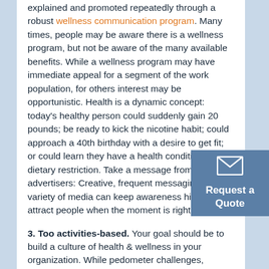explained and promoted repeatedly through a robust wellness communication program. Many times, people may be aware there is a wellness program, but not be aware of the many available benefits. While a wellness program may have immediate appeal for a segment of the work population, for others interest may be opportunistic. Health is a dynamic concept: today's healthy person could suddenly gain 20 pounds; be ready to kick the nicotine habit; could approach a 40th birthday with a desire to get fit; or could learn they have a health condition with dietary restriction. Take a message from advertisers: Creative, frequent messaging in a variety of media can keep awareness high and attract people when the moment is right.
[Figure (other): Request a Quote button with envelope icon, blue-grey background]
3. Too activities-based. Your goal should be to build a culture of health & wellness in your organization. While pedometer challenges, "biggest loser" contests and team sports can be fun, you should aim for a multi-faceted